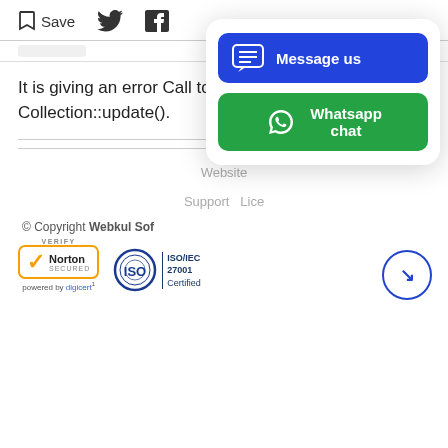Save  [Twitter icon]  [Facebook icon]
It is giving an error Call to undefined method Collection::update().
Website
Support  Lice
© Copyright Webkul Sof
[Figure (screenshot): Chat widget overlay with 'Message us' blue button and 'Whatsapp chat' green button]
[Figure (logo): Norton Secured badge with VERIFY label and powered by digicert]
[Figure (logo): ISO/IEC 27001 Certified badge]
[Figure (other): Circular scroll/navigate button with arrow pointing down-right]